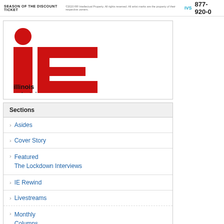SEASON OF THE DISCOUNT TICKET IVS 877-920-0...
[Figure (logo): Illinois Entertainer 'ie' logo — large red lowercase 'i' with red circle dot and large red lowercase 'e' with white cutout, with text 'illinois entertainer' below in black bold]
Sections
Asides
Cover Story
Featured
The Lockdown Interviews
IE Rewind
Livestreams
Monthly
Columns